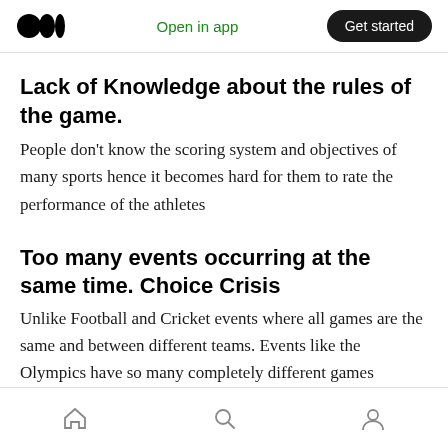Open in app | Get started
Lack of Knowledge about the rules of the game.
People don't know the scoring system and objectives of many sports hence it becomes hard for them to rate the performance of the athletes
Too many events occurring at the same time. Choice Crisis
Unlike Football and Cricket events where all games are the same and between different teams. Events like the Olympics have so many completely different games happening at the same time.
Home | Search | Profile